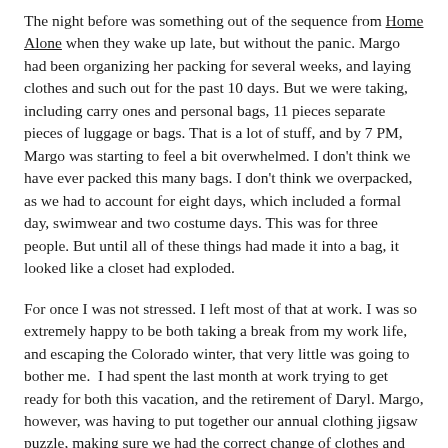The night before was something out of the sequence from Home Alone when they wake up late, but without the panic. Margo had been organizing her packing for several weeks, and laying clothes and such out for the past 10 days. But we were taking, including carry ones and personal bags, 11 pieces separate pieces of luggage or bags. That is a lot of stuff, and by 7 PM, Margo was starting to feel a bit overwhelmed. I don't think we have ever packed this many bags. I don't think we overpacked, as we had to account for eight days, which included a formal day, swimwear and two costume days. This was for three people. But until all of these things had made it into a bag, it looked like a closet had exploded.
For once I was not stressed. I left most of that at work. I was so extremely happy to be both taking a break from my work life, and escaping the Colorado winter, that very little was going to bother me. I had spent the last month at work trying to get ready for both this vacation, and the retirement of Daryl. Margo, however, was having to put together our annual clothing jigsaw puzzle, making sure we had the correct change of clothes and packing nothing that we could literally not live without. So, I went about cleaning and staying out of her way. After taking a break to eat, she sorted her mind out and had